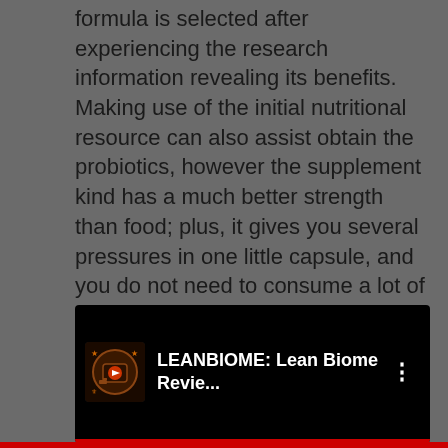formula is selected after experiencing the research information revealing its benefits. Making use of the initial nutritional resource can also assist obtain the probiotics, however the supplement kind has a much better strength than food; plus, it gives you several pressures in one little capsule, and you do not need to consume a lot of probiotics rich foods daily. It is a vegan/vegetarian-friendly item, without nuts, soy, dairy, BPAs, and also genetically modified ingredients.
[Figure (screenshot): YouTube video thumbnail showing 'LEANBIOME: Lean Biome Revie...' with a channel icon on the left and a three-dot menu on the right, on a black background with a red progress bar at the bottom.]